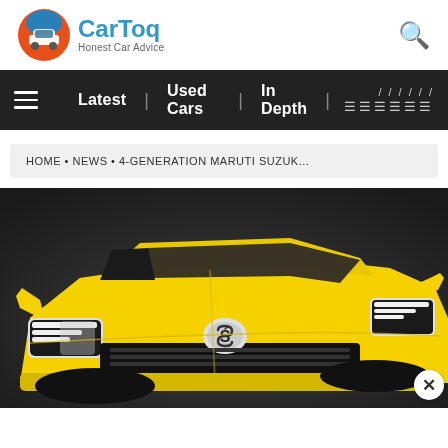[Figure (logo): CarToq logo — circular icon with stylized car silhouette on orange/blue gradient background, text 'CarToq' in blue and tagline 'Honest Car Advice']
[Figure (other): Search magnifying glass icon in top right]
≡  Latest | Used Cars | In Depth | /////// ☰☰☰☰☰☰
HOME • NEWS • 4-GENERATION MARUTI SUZUK...
[Figure (photo): Yellow Maruti Suzuki Swift (4th generation) compact hatchback, front three-quarter view against dark grey background, showing LED headlights and Suzuki badge on hood]